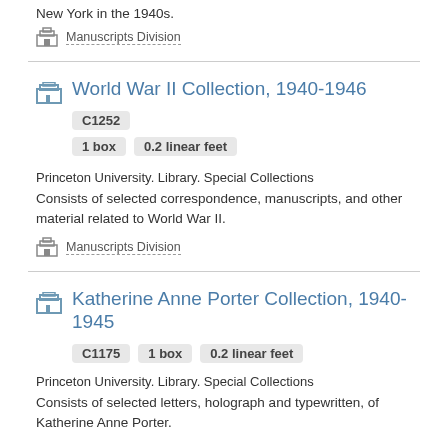New York in the 1940s.
Manuscripts Division
World War II Collection, 1940-1946 C1252 1 box 0.2 linear feet
Princeton University. Library. Special Collections
Consists of selected correspondence, manuscripts, and other material related to World War II.
Manuscripts Division
Katherine Anne Porter Collection, 1940-1945 C1175 1 box 0.2 linear feet
Princeton University. Library. Special Collections
Consists of selected letters, holograph and typewritten, of Katherine Anne Porter.